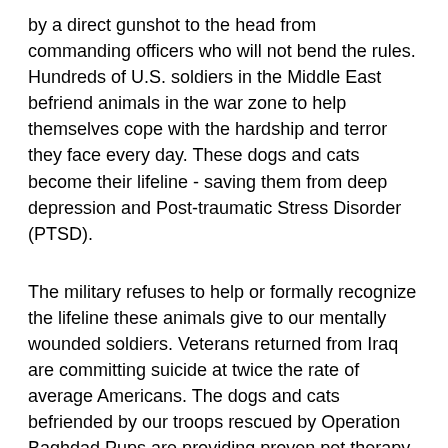by a direct gunshot to the head from commanding officers who will not bend the rules. Hundreds of U.S. soldiers in the Middle East befriend animals in the war zone to help themselves cope with the hardship and terror they face every day. These dogs and cats become their lifeline - saving them from deep depression and Post-traumatic Stress Disorder (PTSD).
The military refuses to help or formally recognize the lifeline these animals give to our mentally wounded soldiers. Veterans returned from Iraq are committing suicide at twice the rate of average Americans. The dogs and cats befriended by our troops rescued by Operation Baghdad Pups are providing proven pet therapy to soldiers who may otherwise suffer from PTSD and deep depression.
http://www.spca.com/press/item/56
US Military threatens to kill pet of deployed US Soldier
http://digg.com/political_opinion/US_Military_threatens_to_kil